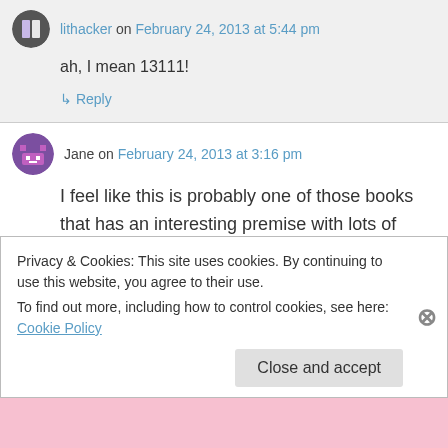lithacker on February 24, 2013 at 5:44 pm
ah, I mean 13111!
↳ Reply
Jane on February 24, 2013 at 3:16 pm
I feel like this is probably one of those books that has an interesting premise with lots of potential, but doesn't ask (enough of) the right questions. And in terms of the contrived, plot convenient
Privacy & Cookies: This site uses cookies. By continuing to use this website, you agree to their use. To find out more, including how to control cookies, see here: Cookie Policy
Close and accept